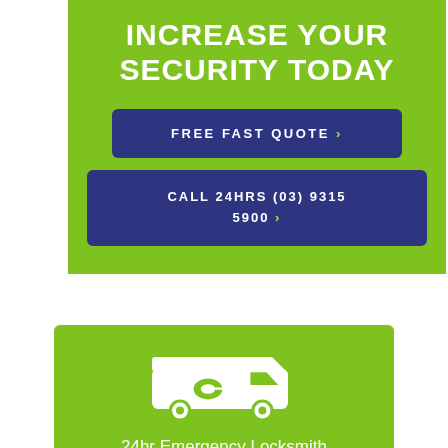INCREASE YOUR SECURITY TODAY
FREE FAST QUOTE ›
CALL 24HRS (03) 9315 5900 ›
[Figure (illustration): White locksmith van icon with a key symbol on the side panel]
24hr Emergency Locksmith
9315 5900